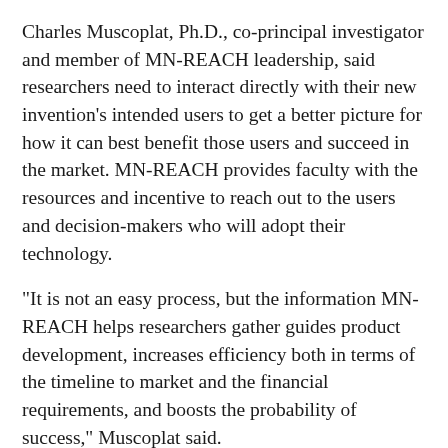Charles Muscoplat, Ph.D., co-principal investigator and member of MN-REACH leadership, said researchers need to interact directly with their new invention's intended users to get a better picture for how it can best benefit those users and succeed in the market. MN-REACH provides faculty with the resources and incentive to reach out to the users and decision-makers who will adopt their technology.
“It is not an easy process, but the information MN-REACH helps researchers gather guides product development, increases efficiency both in terms of the timeline to market and the financial requirements, and boosts the probability of success,” Muscoplat said.
Discovering what users need could even lead to a whole new approach to commercialization. That was the case for Harnack, who originally thought developers wanted a software tool to pull data from the NCC’s database into